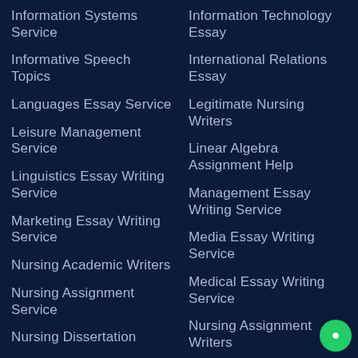Information Systems Service
Information Technology Essay
Informative Speech Topics
International Relations Essay
Languages Essay Service
Legitimate Nursing Writers
Leisure Management Service
Linear Algebra Assignment Help
Linguistics Essay Writing Service
Management Essay Writing Service
Marketing Essay Writing Service
Media Essay Writing Service
Medical Essay Writing Service
Nursing Academic Writers
Nursing Assignment Writers
Nursing Assignment Service
Nursing Care Plan Writing
Nursing Dissertation
Nursing Essay Paper Writing
Nursing Essay Writers Online
Nursing Homework Writing